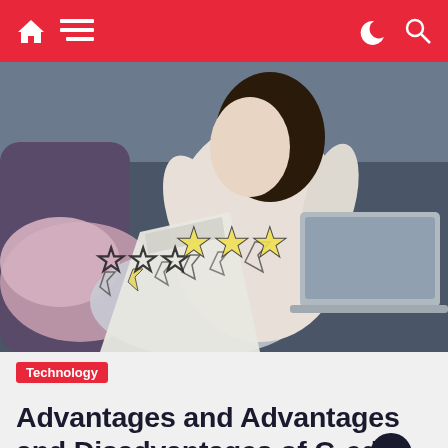Navigation bar with home icon, menu icon, dark mode and search icons
[Figure (photo): Woman sitting on a couch using a laptop, holding a shopping bag, with star ratings overlaid on the image]
Technology
Advantages and Advantages and Disadvantages of Credit Cards | Are Credit Cards a...